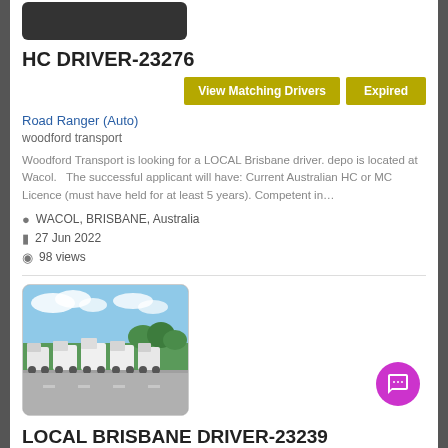[Figure (photo): Top partial image of a road or truck, cropped]
HC DRIVER-23276
View Matching Drivers | Expired
Road Ranger (Auto)
woodford transport
Woodford Transport is looking for a LOCAL Brisbane driver. depo is located at Wacol.   The successful applicant will have: Current Australian HC or MC Licence (must have held for at least 5 years). Competent in…
WACOL, BRISBANE, Australia
27 Jun 2022
98 views
[Figure (photo): A fleet of white semi trucks parked in a row in a yard with trees in background]
LOCAL BRISBANE DRIVER-23239